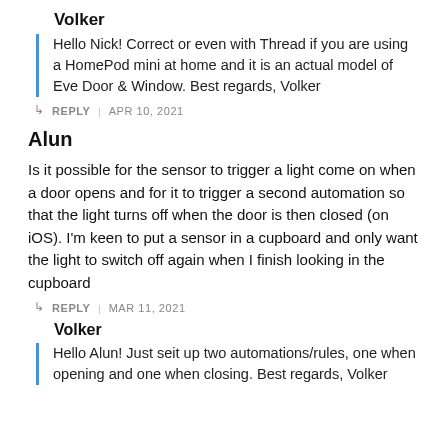Volker
Hello Nick! Correct or even with Thread if you are using a HomePod mini at home and it is an actual model of Eve Door & Window. Best regards, Volker
↳  REPLY  |  APR 10, 2021
Alun
Is it possible for the sensor to trigger a light come on when a door opens and for it to trigger a second automation so that the light turns off when the door is then closed (on iOS). I'm keen to put a sensor in a cupboard and only want the light to switch off again when I finish looking in the cupboard
↳  REPLY  |  MAR 11, 2021
Volker
Hello Alun! Just seit up two automations/rules, one when opening and one when closing. Best regards, Volker